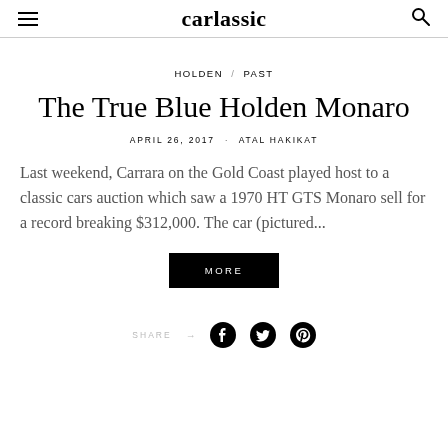carlassic
HOLDEN / PAST
The True Blue Holden Monaro
APRIL 26, 2017 · ATAL HAKIKAT
Last weekend, Carrara on the Gold Coast played host to a classic cars auction which saw a 1970 HT GTS Monaro sell for a record breaking $312,000. The car (pictured...
MORE
SHARE